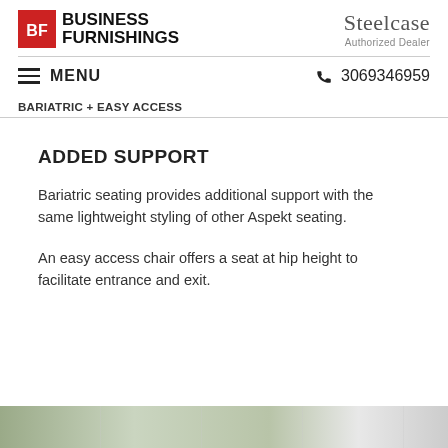[Figure (logo): Business Furnishings logo with red square icon and bold text]
[Figure (logo): Steelcase Authorized Dealer logo]
≡ MENU   ☎ 3069346959
BARIATRIC + EASY ACCESS
ADDED SUPPORT
Bariatric seating provides additional support with the same lightweight styling of other Aspekt seating.
An easy access chair offers a seat at hip height to facilitate entrance and exit.
[Figure (photo): Bottom partial image of chairs/seating in a room setting]